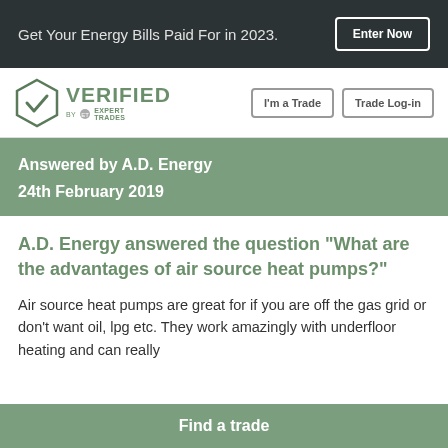Get Your Energy Bills Paid For in 2023.   Enter Now
[Figure (logo): Verified by Expert Trades logo — hexagonal checkmark badge with VERIFIED text in green and 'by Expert Trades' small text below]
I'm a Trade   Trade Log-in
Answered by A.D. Energy
24th February 2019
A.D. Energy answered the question "What are the advantages of air source heat pumps?"
Air source heat pumps are great for if you are off the gas grid or don't want oil, lpg etc. They work amazingly with underfloor heating and can really
Find a trade